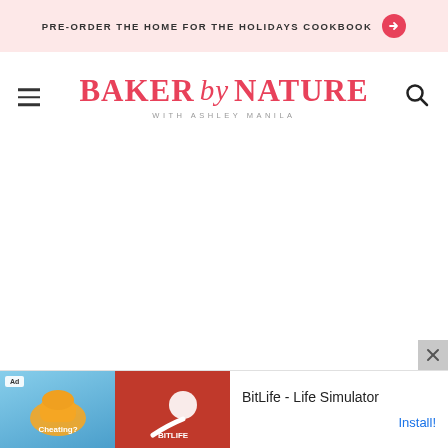PRE-ORDER THE HOME FOR THE HOLIDAYS COOKBOOK →
[Figure (logo): Baker by Nature with Ashley Manila logo in coral/pink serif font with hamburger menu icon on left and search icon on right]
[Figure (other): Advertisement: BitLife - Life Simulator with Install! button, showing Ad label and game imagery on left side]